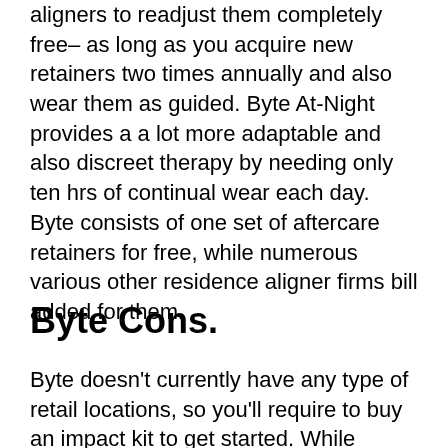aligners to readjust them completely free– as long as you acquire new retainers two times annually and also wear them as guided. Byte At-Night provides a a lot more adaptable and also discreet therapy by needing only ten hrs of continual wear each day. Byte consists of one set of aftercare retainers for free, while numerous various other residence aligner firms bill added for them.
Byte Cons.
Byte doesn't currently have any type of retail locations, so you'll require to buy an impact kit to get started. While getting a kit doesn't